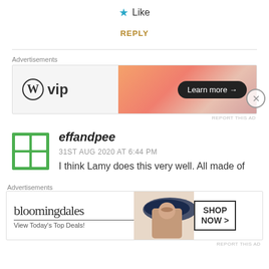★ Like
REPLY
[Figure (screenshot): WordPress VIP advertisement banner with gradient orange background and 'Learn more →' button]
REPORT THIS AD
effandpee
31ST AUG 2020 AT 6:44 PM
I think Lamy does this very well. All made of
[Figure (screenshot): Bloomingdales advertisement banner with 'View Today's Top Deals!' and 'SHOP NOW >' button]